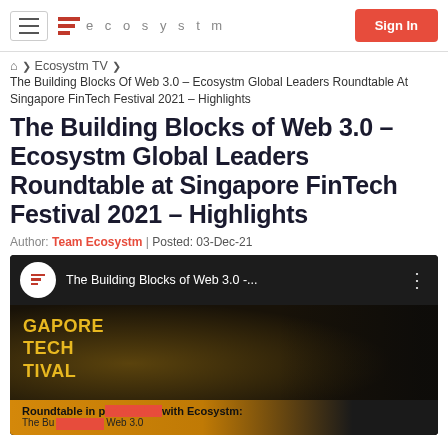ecosystm | Sign In
🏠 > Ecosystm TV >
The Building Blocks Of Web 3.0 – Ecosystm Global Leaders Roundtable At Singapore FinTech Festival 2021 – Highlights
The Building Blocks of Web 3.0 – Ecosystm Global Leaders Roundtable at Singapore FinTech Festival 2021 – Highlights
Author: Team Ecosystm | Posted: 03-Dec-21
[Figure (screenshot): YouTube-style video embed showing 'The Building Blocks of Web 3.0 -...' with Ecosystm logo avatar and Singapore FinTech Festival background imagery, with a roundtable banner at the bottom reading 'Roundtable in partnership with Ecosystm: The Bu[ilding Blocks of] Web 3.0']